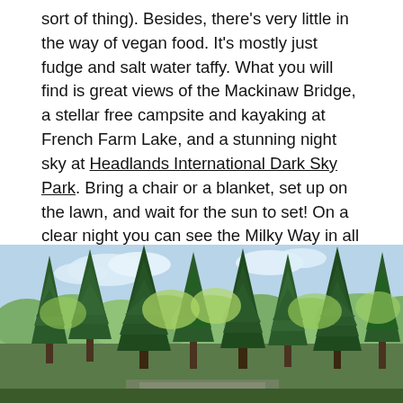sort of thing). Besides, there's very little in the way of vegan food. It's mostly just fudge and salt water taffy. What you will find is great views of the Mackinaw Bridge, a stellar free campsite and kayaking at French Farm Lake, and a stunning night sky at Headlands International Dark Sky Park. Bring a chair or a blanket, set up on the lawn, and wait for the sun to set! On a clear night you can see the Milky Way in all its brilliance. And it's all free! Don't forget your red light to preserve your night vision.
Stay at least one night in the area, two if you plan to spend a day kayaking, taking a boat tour, or exploring.
[Figure (photo): Outdoor forest/woodland photo showing tall evergreen and deciduous trees with green foliage against a light blue sky with scattered clouds. A road or path is partially visible at the bottom.]